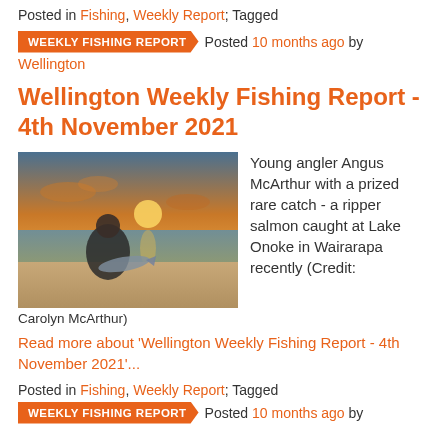Posted in Fishing, Weekly Report; Tagged
WEEKLY FISHING REPORT   Posted 10 months ago by
Wellington
Wellington Weekly Fishing Report - 4th November 2021
[Figure (photo): Young boy holding a large salmon fish on a beach at sunset]
Young angler Angus McArthur with a prized rare catch - a ripper salmon caught at Lake Onoke in Wairarapa recently (Credit: Carolyn McArthur)
Read more about 'Wellington Weekly Fishing Report - 4th November 2021'...
Posted in Fishing, Weekly Report; Tagged
WEEKLY FISHING REPORT   Posted 10 months ago by